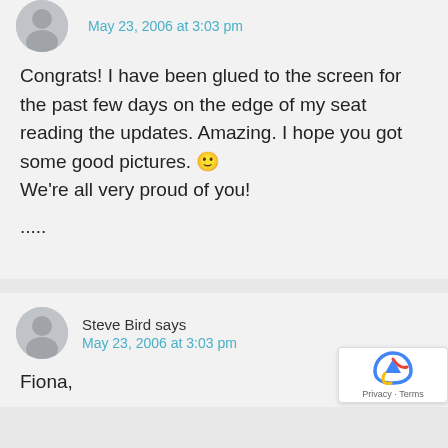May 23, 2006 at 3:03 pm
Congrats! I have been glued to the screen for the past few days on the edge of my seat reading the updates. Amazing. I hope you got some good pictures. 🙂 We're all very proud of you!
.....
Steve Bird says
May 23, 2006 at 3:03 pm
Fiona,